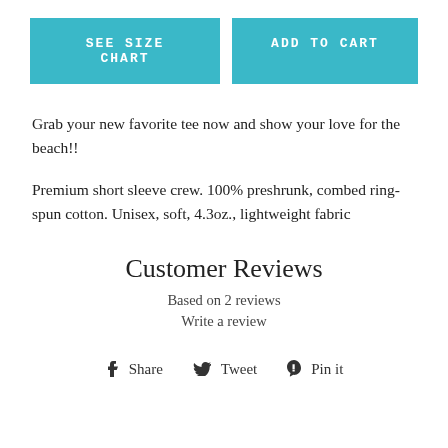[Figure (other): Two teal/turquoise buttons side by side: 'SEE SIZE CHART' and 'ADD TO CART']
Grab your new favorite tee now and show your love for the beach!!
Premium short sleeve crew. 100% preshrunk, combed ring-spun cotton. Unisex, soft, 4.3oz., lightweight fabric
Customer Reviews
Based on 2 reviews
Write a review
Share   Tweet   Pin it